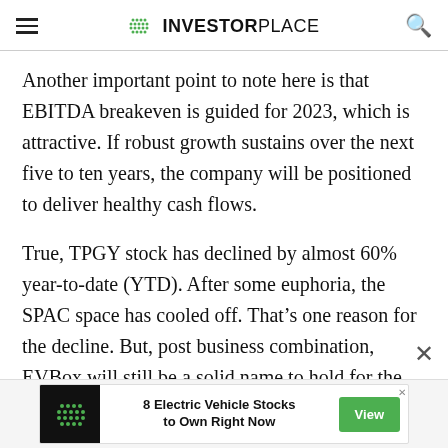INVESTORPLACE
Another important point to note here is that EBITDA breakeven is guided for 2023, which is attractive. If robust growth sustains over the next five to ten years, the company will be positioned to deliver healthy cash flows.
True, TPGY stock has declined by almost 60% year-to-date (YTD). After some euphoria, the SPAC space has cooled off. That’s one reason for the decline. But, post business combination, EVBox will still be a solid name to hold for the long term.
[Figure (infographic): Advertisement banner: InvestorPlace logo (green dot grid) with text '8 Electric Vehicle Stocks to Own Right Now' and a green 'View' button]